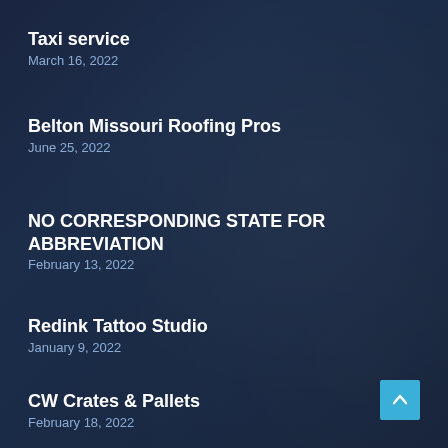Taxi service
March 16, 2022
Belton Missouri Roofing Pros
June 25, 2022
NO CORRESPONDING STATE FOR ABBREVIATION
February 13, 2022
Redink Tattoo Studio
January 9, 2022
CW Crates & Pallets
February 18, 2022